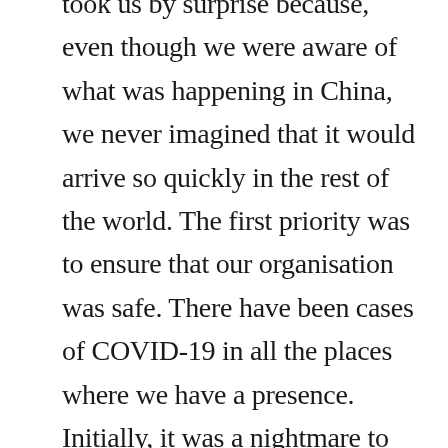took us by surprise because, even though we were aware of what was happening in China, we never imagined that it would arrive so quickly in the rest of the world. The first priority was to ensure that our organisation was safe. There have been cases of COVID-19 in all the places where we have a presence. Initially, it was a nightmare to handle because there were different regulations and protocols on lockdowns and partial lockdowns in different countries and cities. The goal was to maintain business continuity, despite warehouses being closed.